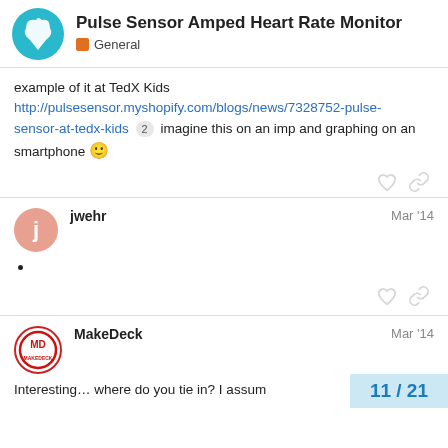Pulse Sensor Amped Heart Rate Monitor — General
example of it at TedX Kids http://pulsesensor.myshopify.com/blogs/news/7328752-pulse-sensor-at-tedx-kids 2 imagine this on an imp and graphing on an smartphone 🙂
jwehr — Mar '14
•
MakeDeck — Mar '14
Interesting… where do you tie in? I assum